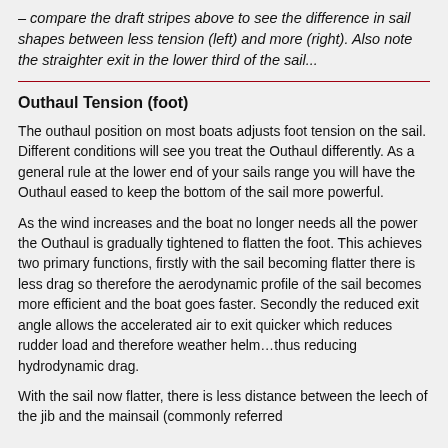– compare the draft stripes above to see the difference in sail shapes between less tension (left) and more (right). Also note the straighter exit in the lower third of the sail...
Outhaul Tension (foot)
The outhaul position on most boats adjusts foot tension on the sail. Different conditions will see you treat the Outhaul differently. As a general rule at the lower end of your sails range you will have the Outhaul eased to keep the bottom of the sail more powerful.
As the wind increases and the boat no longer needs all the power the Outhaul is gradually tightened to flatten the foot. This achieves two primary functions, firstly with the sail becoming flatter there is less drag so therefore the aerodynamic profile of the sail becomes more efficient and the boat goes faster. Secondly the reduced exit angle allows the accelerated air to exit quicker which reduces rudder load and therefore weather helm…thus reducing hydrodynamic drag.
With the sail now flatter, there is less distance between the leech of the jib and the mainsail (commonly referred to as the slot) there is a more even weight the...